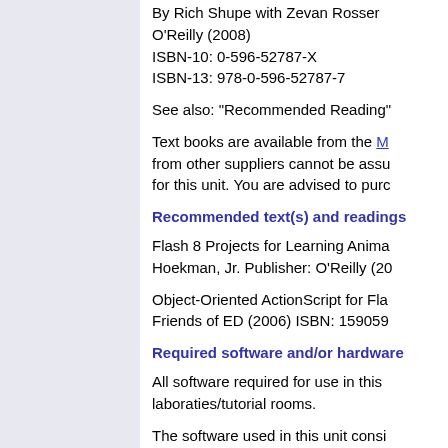By Rich Shupe with Zevan Rosser. O'Reilly (2008) ISBN-10: 0-596-52787-X ISBN-13: 978-0-596-52787-7
See also: "Recommended Reading"
Text books are available from the M... from other suppliers cannot be assu... for this unit. You are advised to purc...
Recommended text(s) and readings
Flash 8 Projects for Learning Anima... Hoekman, Jr. Publisher: O'Reilly (20...
Object-Oriented ActionScript for Fla... Friends of ED (2006) ISBN: 159059...
Required software and/or hardware
All software required for use in this ... laboraties/tutorial rooms.
The software used in this unit consi...